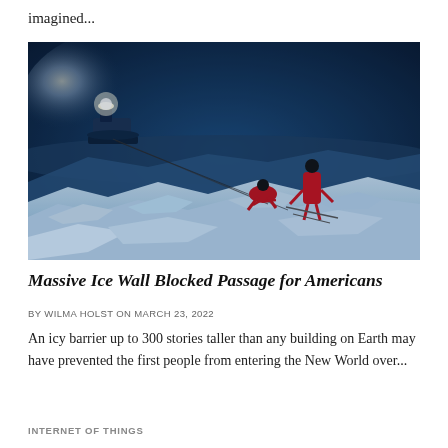imagined...
[Figure (photo): Two researchers in red suits working on sea ice with cables/ropes, with an icebreaker ship lit up in the dark blue background]
Massive Ice Wall Blocked Passage for Americans
BY WILMA HOLST ON MARCH 23, 2022
An icy barrier up to 300 stories taller than any building on Earth may have prevented the first people from entering the New World over...
INTERNET OF THINGS